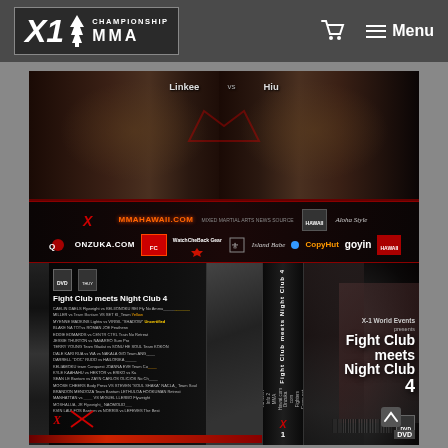X1 Championship MMA — Navigation bar with cart and menu
[Figure (photo): DVD product image for 'Fight Club meets Night Club 4' by X-1 World Events. Shows DVD front and back covers with MMA fighters, fight card listing, and sponsor logos including MMAHawaii.com, Onzuka.com, CopyHut, goyin. Text on front cover reads 'X-1 World Events presents Fight Club meets Night Club 4'. Top of image shows two fighters labeled 'Linkee vs Hiu'.]